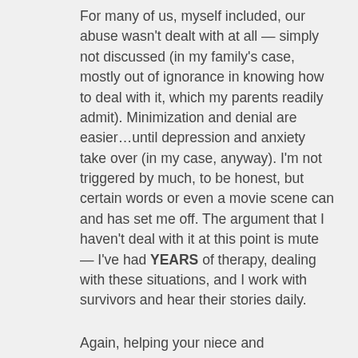For many of us, myself included, our abuse wasn't dealt with at all — simply not discussed (in my family's case, mostly out of ignorance in knowing how to deal with it, which my parents readily admit). Minimization and denial are easier…until depression and anxiety take over (in my case, anyway). I'm not triggered by much, to be honest, but certain words or even a movie scene can and has set me off. The argument that I haven't deal with it at this point is mute — I've had YEARS of therapy, dealing with these situations, and I work with survivors and hear their stories daily.
Again, helping your niece and